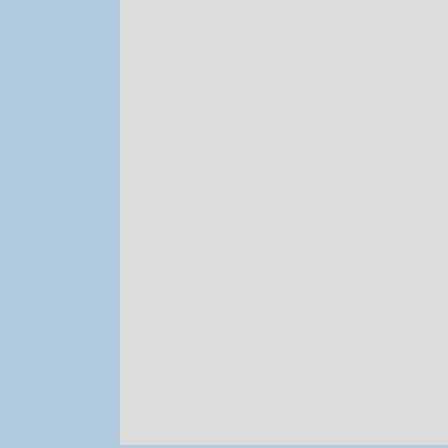wide-spread intervene in
Avatar (8/5 Site overlon have oversi
How Users are R
Reply #40    April 1, 2022 6:20:44
[Figure (photo): User avatar photo showing a dark figure on reddish background]
Richard Mohler
Join Date 01/2003
+43
4 I think..